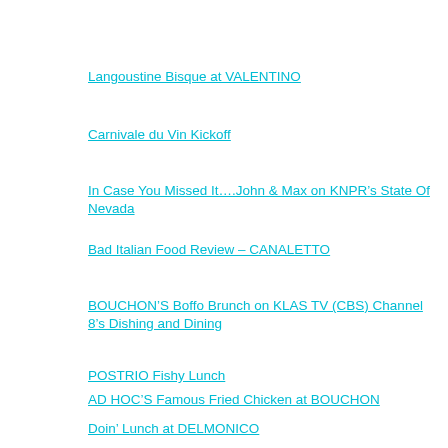Langoustine Bisque at VALENTINO
Carnivale du Vin Kickoff
In Case You Missed It….John & Max on KNPR's State Of Nevada
Bad Italian Food Review – CANALETTO
BOUCHON'S Boffo Brunch on KLAS TV (CBS) Channel 8's Dishing and Dining
POSTRIO Fishy Lunch
AD HOC'S Famous Fried Chicken at BOUCHON
Doin' Lunch at DELMONICO